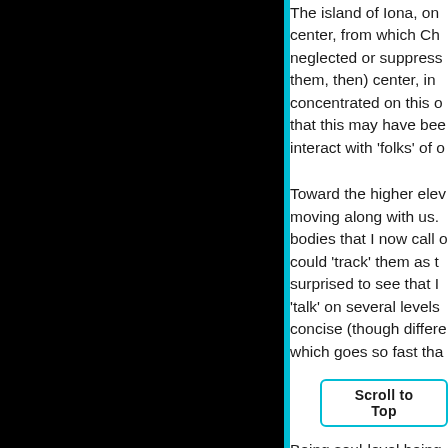The island of Iona, on center, from which Ch neglected or suppress them, then) center, in concentrated on this o that this may have bee interact with 'folks' of o
Toward the higher ele moving along with us. bodies that I now call o could 'track' them as t surprised to see that I 'talk' on several levels concise (though differe which goes so fast tha
Being soul-level being